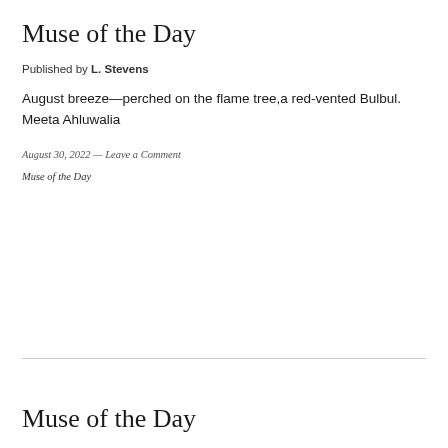Muse of the Day
Published by L. Stevens
August breeze—perched on the flame tree,a red-vented Bulbul. Meeta Ahluwalia
August 30, 2022 — Leave a Comment
Muse of the Day
Muse of the Day